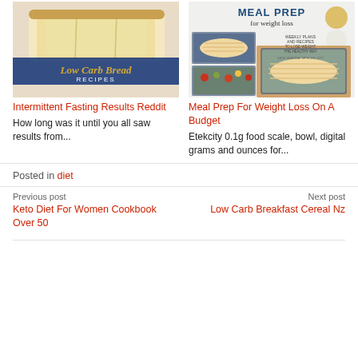[Figure (photo): Low Carb Bread Recipes — sliced white bread with a blue banner overlay reading 'Low Carb Bread RECIPES']
[Figure (photo): Meal Prep For Weight Loss book cover showing meal prep containers with chicken and vegetables, title reads 'MEAL PREP for weight loss']
Intermittent Fasting Results Reddit
How long was it until you all saw results from...
Meal Prep For Weight Loss On A Budget
Etekcity 0.1g food scale, bowl, digital grams and ounces for...
Posted in diet
Previous post
Keto Diet For Women Cookbook Over 50
Next post
Low Carb Breakfast Cereal Nz